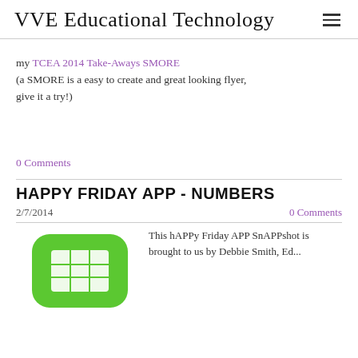VVE Educational Technology
my TCEA 2014 Take-Aways SMORE
(a SMORE is a easy to create and great looking flyer, give it a try!)
0 Comments
HAPPY FRIDAY APP - NUMBERS
2/7/2014
0 Comments
[Figure (illustration): Green rounded rectangle app icon with a white grid/table symbol inside, resembling the Numbers app icon for iOS]
This hAPPy Friday APP SnAPPshot is brought to us by Debbie Smith, Ed...